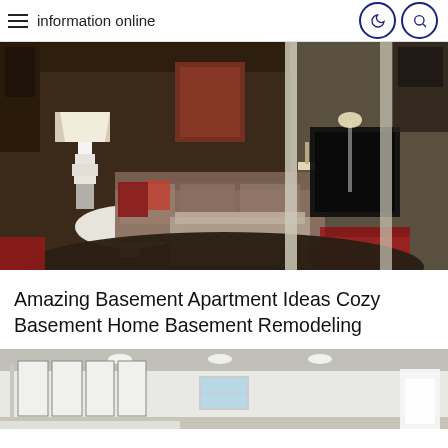information online
[Figure (photo): Dark-toned cozy basement living room with sectional sofa, white lamp, red accent pillows, ottoman coffee table, wall art, and TV unit. Foreground shows a round dark table with plaid chairs.]
Amazing Basement Apartment Ideas Cozy Basement Home Basement Remodeling
[Figure (photo): Bright modern basement hallway with framed art gallery wall on the left, recessed ceiling lights, a small window at the end, and a white lamp on the right.]